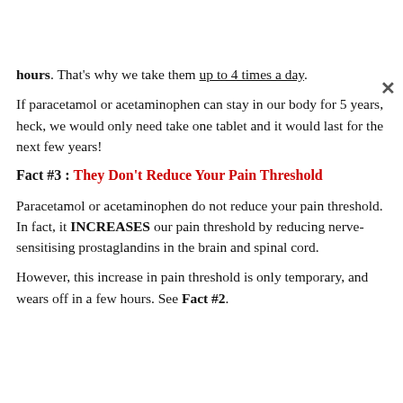hours. That's why we take them up to 4 times a day.
If paracetamol or acetaminophen can stay in our body for 5 years, heck, we would only need take one tablet and it would last for the next few years!
Fact #3 : They Don't Reduce Your Pain Threshold
Paracetamol or acetaminophen do not reduce your pain threshold. In fact, it INCREASES our pain threshold by reducing nerve-sensitising prostaglandins in the brain and spinal cord.
However, this increase in pain threshold is only temporary, and wears off in a few hours. See Fact #2.